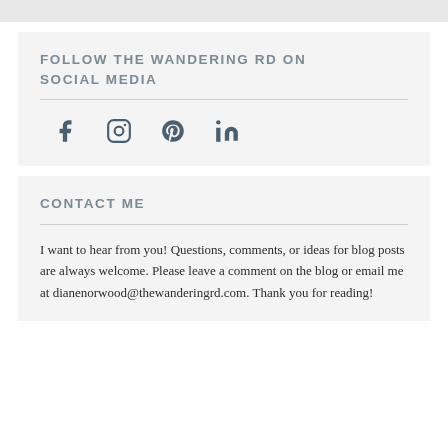FOLLOW THE WANDERING RD ON SOCIAL MEDIA
[Figure (other): Row of social media icons: Facebook, Instagram, Pinterest, LinkedIn]
CONTACT ME
I want to hear from you! Questions, comments, or ideas for blog posts are always welcome. Please leave a comment on the blog or email me at dianenorwood@thewanderingrd.com. Thank you for reading!